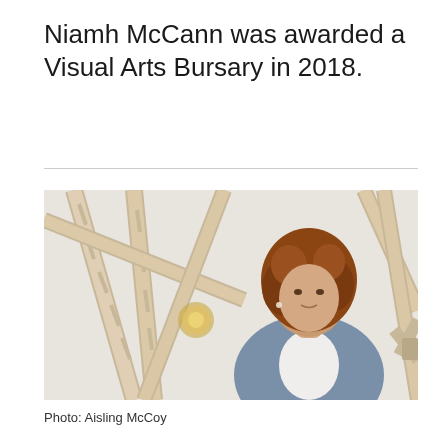Niamh McCann was awarded a Visual Arts Bursary in 2018.
[Figure (photo): A woman with curly reddish-brown hair wearing a grey blazer and white shirt stands in front of a sculptural installation made of wooden poles and connectors, photographed in a gallery setting.]
Photo: Aisling McCoy